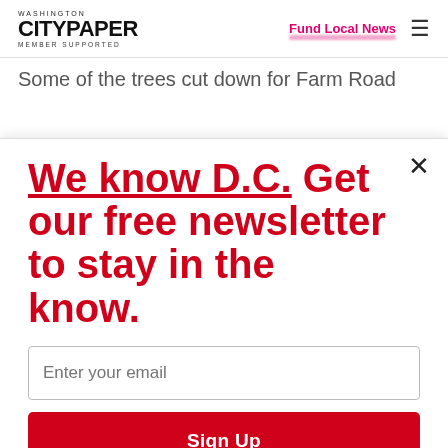WASHINGTON CITYPAPER MEMBER SUPPORTED
Fund Local News
Some of the trees cut down for Farm Road
We know D.C. Get our free newsletter to stay in the know.
Enter your email
Sign Up
Unsubscribe any time.